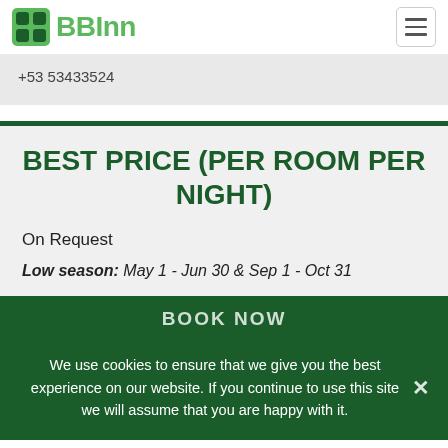BBInn
+53 53433524
BEST PRICE (PER ROOM PER NIGHT)
On Request
Low season: May 1 - Jun 30 & Sep 1 - Oct 31
BOOK NOW
We use cookies to ensure that we give you the best experience on our website. If you continue to use this site we will assume that you are happy with it.